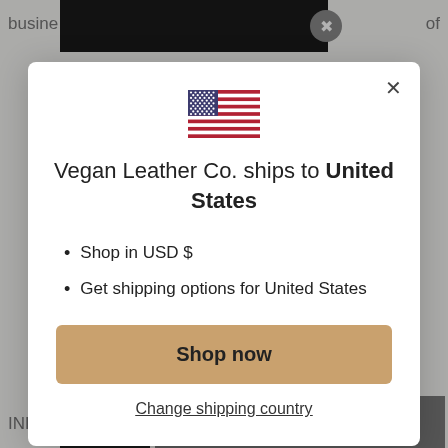[Figure (screenshot): A modal popup dialog on a website for Vegan Leather Co., showing a US flag, a message about shipping to United States, bullet points about USD and shipping options, a 'Shop now' button, and a 'Change shipping country' link.]
Vegan Leather Co. ships to United States
Shop in USD $
Get shipping options for United States
Shop now
Change shipping country